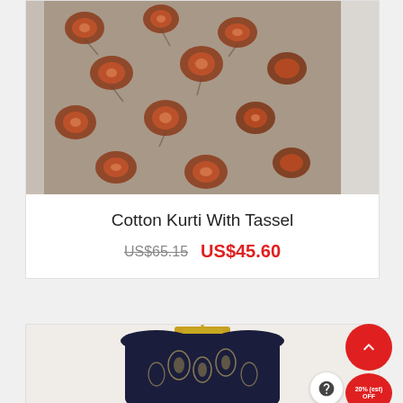[Figure (photo): A floral-patterned cotton kurti (dress/top) displayed on a white mannequin, featuring dark brown/grey background with rust-red floral motifs]
Cotton Kurti With Tassel
US$65.15  US$45.60
[Figure (photo): A dark navy blue sleeveless kurti with paisley/floral design in beige/gold, displayed on a yellow hanger]